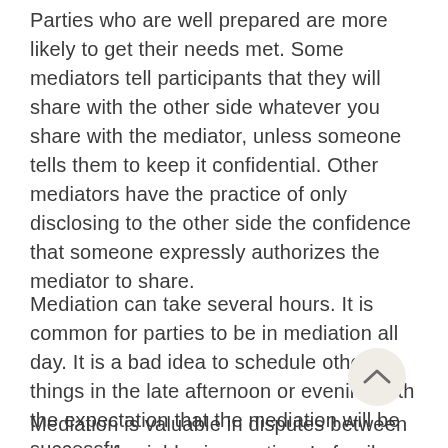Parties who are well prepared are more likely to get their needs met. Some mediators tell participants that they will share with the other side whatever you share with the mediator, unless someone tells them to keep it confidential. Other mediators have the practice of only disclosing to the other side the confidence that someone expressly authorizes the mediator to share.
Mediation can take several hours. It is common for parties to be in mediation all day. It is a bad idea to schedule other things in the late afternoon or evening with the expectation that the mediation will be successfu abandoned by a set time.
Mediation is valuable in disputes between owners of neighboring parties. In family law, disputes between